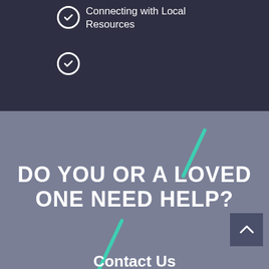Connecting with Local Resources
DO YOU OR A LOVED ONE NEED HELP?
Contact Us